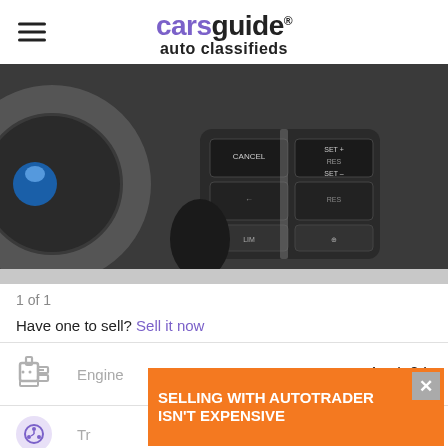carsguide auto classifieds
[Figure (photo): Close-up photo of steering wheel cruise control buttons including CANCEL, SET+, RES, SET-, LIM, and other controls on a dark background]
1 of 1
Have one to sell? Sell it now
| Spec | Value |
| --- | --- |
| Engine | 4 cyl, 2 L |
| Transmission | Automatic |
[Figure (infographic): Advertisement banner: SELLING WITH AUTOTRADER ISN'T EXPENSIVE with close button]